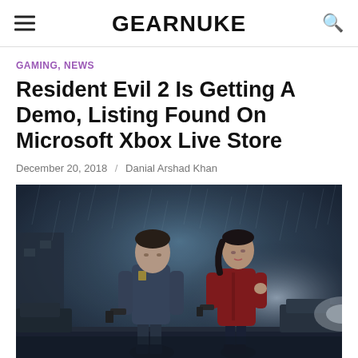GEARNUKE
GAMING, NEWS
Resident Evil 2 Is Getting A Demo, Listing Found On Microsoft Xbox Live Store
December 20, 2018 / Danial Arshad Khan
[Figure (photo): Promotional artwork for Resident Evil 2 showing two characters standing back to back in a dark rainy environment. The male character on the left wears a police uniform and the female character on the right wears a red jacket. Both hold weapons.]